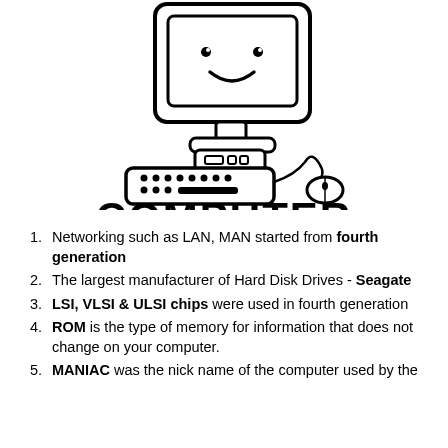[Figure (illustration): Hand-drawn cartoon illustration of a desktop computer with a smiling face on the monitor screen, a keyboard below, and a mouse to the right connected by a cord. The word COMPUTER is written in bold hand-drawn letters below the illustration.]
Networking such as LAN, MAN started from fourth generation
The largest manufacturer of Hard Disk Drives - Seagate
LSI, VLSI & ULSI chips were used in fourth generation
ROM is the type of memory for information that does not change on your computer.
MANIAC was the nick name of the computer used by the